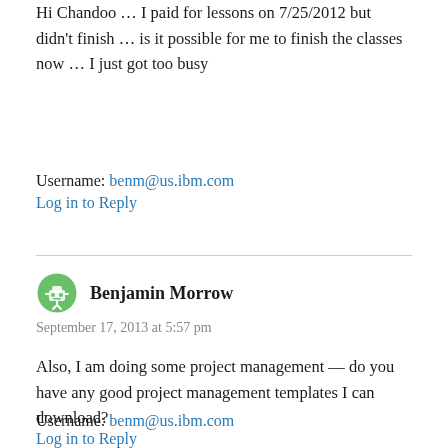Hi Chandoo … I paid for lessons on 7/25/2012 but didn't finish … is it possible for me to finish the classes now … I just got too busy
Username: benm@us.ibm.com
Log in to Reply
Benjamin Morrow
September 17, 2013 at 5:57 pm
Also, I am doing some project management — do you have any good project management templates I can download?
Username: benm@us.ibm.com
Log in to Reply